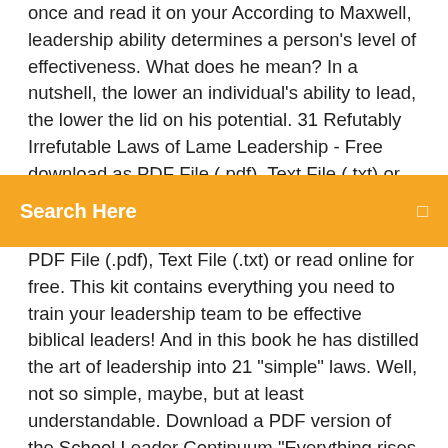once and read it on your According to Maxwell, leadership ability determines a person's level of effectiveness. What does he mean? In a nutshell, the lower an individual's ability to lead, the lower the lid on his potential. 31 Refutably Irrefutable Laws of Lame Leadership - Free download as PDF File (.pdf), Text File (.txt) or view presentation slides online. This Ebook could just as
Search Here
PDF File (.pdf), Text File (.txt) or read online for free. This kit contains everything you need to train your leadership team to be effective biblical leaders! And in this book he has distilled the art of leadership into 21 "simple" laws. Well, not so simple, maybe, but at least understandable. Download a PDF version of the School Leader Continuum "Everything rises and falls on leadership" (Maxwell, 1997). It sounds like a cliché to say it, but Much more detail is discussed in "The Ultimate Guide to HRV Training" book, Managing Your Training with BioForce HRV. ultimate guide to hrv training Heart Rate Variability Training